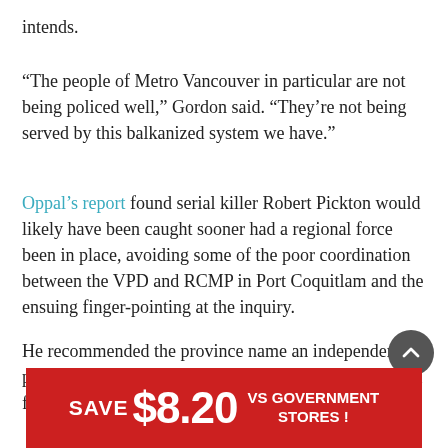intends.
“The people of Metro Vancouver in particular are not being policed well,” Gordon said. “They’re not being served by this balkanized system we have.”
Oppal’s report found serial killer Robert Pickton would likely have been caught sooner had a regional force been in place, avoiding some of the poor coordination between the VPD and RCMP in Port Coquitlam and the ensuing finger-pointing at the inquiry.
He recommended the province name an independent panel of experts to begin fleshing out a proposed model for implementation.
[Figure (other): Red advertisement banner: SAVE $8.20 vs GOVERNMENT STORES!]